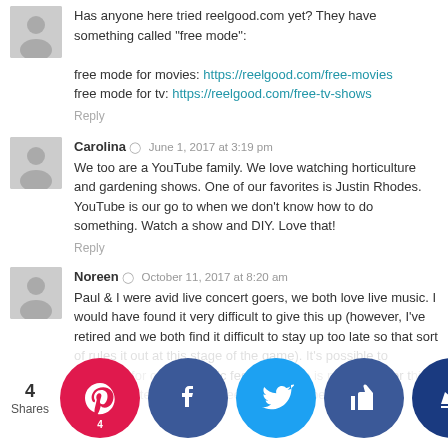Has anyone here tried reelgood.com yet? They have something called "free mode":
free mode for movies: https://reelgood.com/free-movies
free mode for tv: https://reelgood.com/free-tv-shows
Reply
Carolina · June 1, 2017 at 3:19 pm
We too are a YouTube family. We love watching horticulture and gardening shows. One of our favorites is Justin Rhodes. YouTube is our go to when we don't know how to do something. Watch a show and DIY. Love that!
Reply
Noreen · October 11, 2017 at 8:20 am
Paul & I were avid live concert goers, we both love live music. I would have found it very difficult to give this up (however, I've retired and we both find it difficult to stay up too late so that sort of rules it out at this stage of the game). It's possible to volunteer for certain music festivals there is no charge for this if you volunteer and you meet some cool people. We are test driving a Cadillac once because they were giving
4 Shares